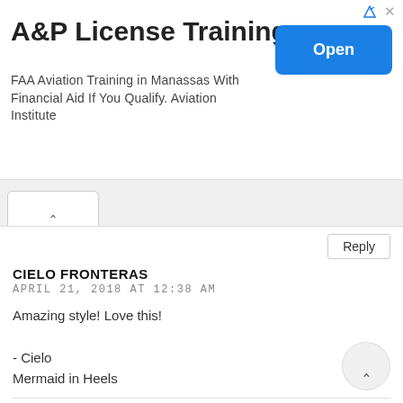[Figure (screenshot): Advertisement banner for A&P License Training with blue Open button]
A&P License Training
FAA Aviation Training in Manassas With Financial Aid If You Qualify. Aviation Institute
Reply
CIELO FRONTERAS
APRIL 21, 2018 AT 12:38 AM
Amazing style! Love this!

- Cielo
Mermaid in Heels
Reply
ISA SÁ
APRIL 21, 2018 AT 12:46 AM
Bonitas fotos!
Isabel Sá